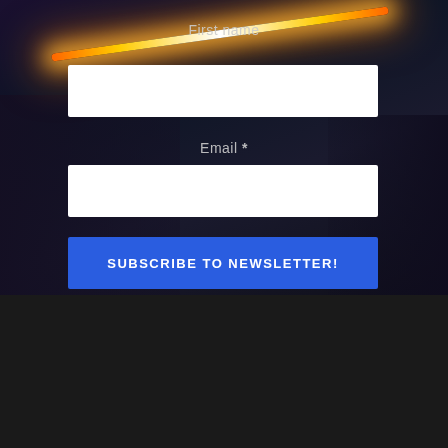[Figure (screenshot): Dark gaming/sci-fi themed background with glowing lightsaber effect across top portion of a newsletter subscription form]
First name
Email *
SUBSCRIBE TO NEWSLETTER!
Something Fresh
FireMonkey 10.4.2 Features Updated iOS16, Android 11, Auge...